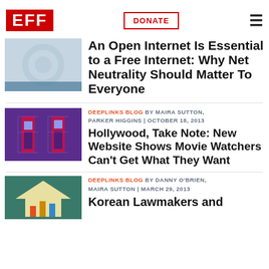EFF | DONATE
An Open Internet Is Essential to a Free Internet: Why Net Neutrality Should Matter To Everyone
DEEPLINKS BLOG BY MAIRA SUTTON, PARKER HIGGINS | OCTOBER 18, 2013
Hollywood, Take Note: New Website Shows Movie Watchers Can't Get What They Want
DEEPLINKS BLOG BY DANNY O'BRIEN, MAIRA SUTTON | MARCH 29, 2013
Korean Lawmakers and